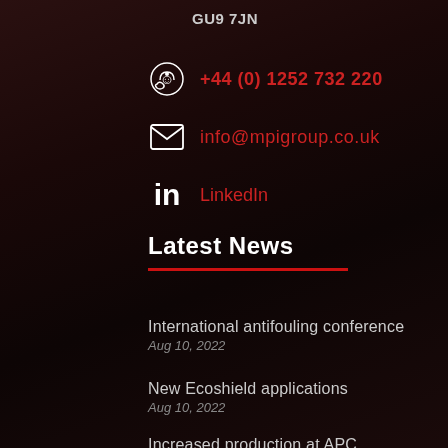GU9 7JN
+44 (0) 1252 732 220
info@mpigroup.co.uk
LinkedIn
Latest News
International antifouling conference
Aug 10, 2022
New Ecoshield applications
Aug 10, 2022
Increased production at APC
Aug 10, 2022